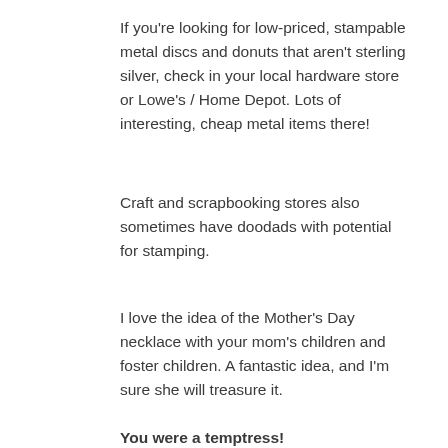If you're looking for low-priced, stampable metal discs and donuts that aren't sterling silver, check in your local hardware store or Lowe's / Home Depot. Lots of interesting, cheap metal items there!
Craft and scrapbooking stores also sometimes have doodads with potential for stamping.
I love the idea of the Mother's Day necklace with your mom's children and foster children. A fantastic idea, and I'm sure she will treasure it.
You were a temptress! by: Sheri from Edmonton, AB